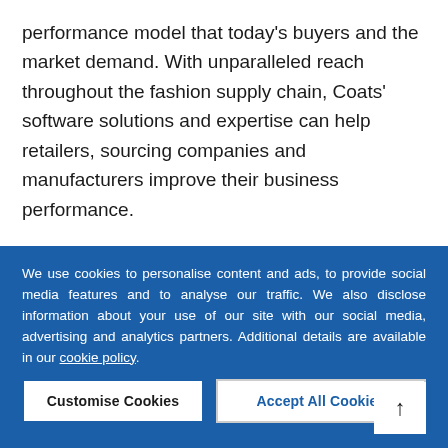performance model that today's buyers and the market demand. With unparalleled reach throughout the fashion supply chain, Coats' software solutions and expertise can help retailers, sourcing companies and manufacturers improve their business performance.
Find out more about how Coats' software solutions can help your business achieve a whole new level of visibility, coordination and control ›
We use cookies to personalise content and ads, to provide social media features and to analyse our traffic. We also disclose information about your use of our site with our social media, advertising and analytics partners. Additional details are available in our cookie policy.